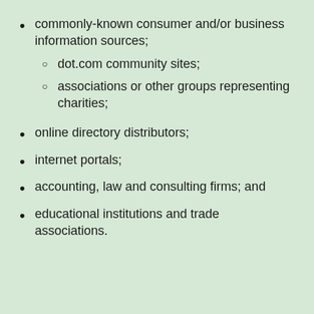commonly-known consumer and/or business information sources;
dot.com community sites;
associations or other groups representing charities;
online directory distributors;
internet portals;
accounting, law and consulting firms; and
educational institutions and trade associations.